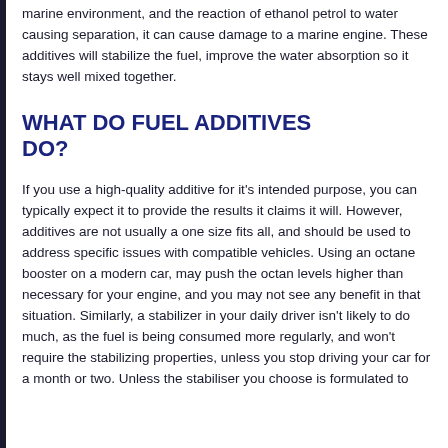marine environment, and the reaction of ethanol petrol to water causing separation, it can cause damage to a marine engine. These additives will stabilize the fuel, improve the water absorption so it stays well mixed together.
WHAT DO FUEL ADDITIVES DO?
If you use a high-quality additive for it's intended purpose, you can typically expect it to provide the results it claims it will. However, additives are not usually a one size fits all, and should be used to address specific issues with compatible vehicles. Using an octane booster on a modern car, may push the octan levels higher than necessary for your engine, and you may not see any benefit in that situation. Similarly, a stabilizer in your daily driver isn't likely to do much, as the fuel is being consumed more regularly, and won't require the stabilizing properties, unless you stop driving your car for a month or two. Unless the stabiliser you choose is formulated to…